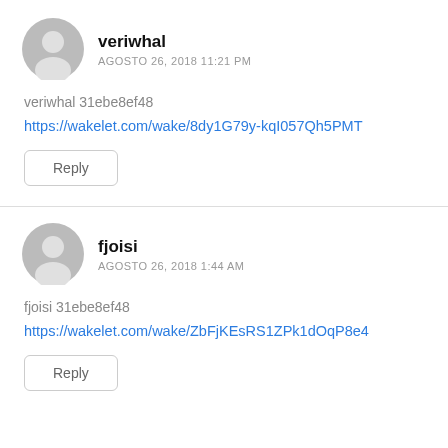[Figure (illustration): Grey default user avatar circle icon for veriwhal]
veriwhal
AGOSTO 26, 2018 11:21 PM
veriwhal 31ebe8ef48
https://wakelet.com/wake/8dy1G79y-kqI057Qh5PMT
Reply
[Figure (illustration): Grey default user avatar circle icon for fjoisi]
fjoisi
AGOSTO 26, 2018 1:44 AM
fjoisi 31ebe8ef48
https://wakelet.com/wake/ZbFjKEsRS1ZPk1dOqP8e4
Reply